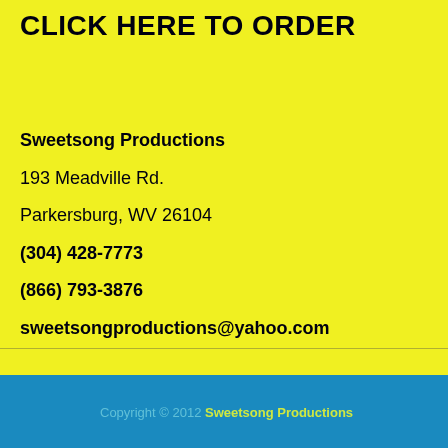CLICK HERE TO ORDER
Sweetsong Productions
193 Meadville Rd.
Parkersburg, WV 26104
(304) 428-7773
(866) 793-3876
sweetsongproductions@yahoo.com
Copyright © 2012 Sweetsong Productions